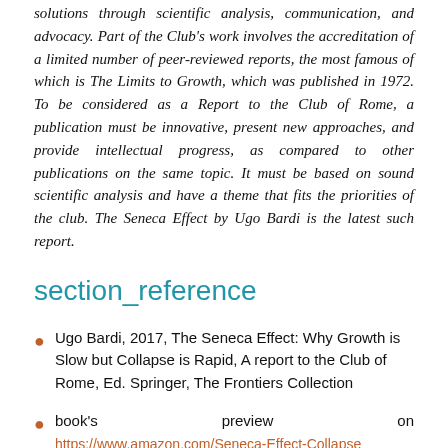solutions through scientific analysis, communication, and advocacy. Part of the Club's work involves the accreditation of a limited number of peer-reviewed reports, the most famous of which is The Limits to Growth, which was published in 1972. To be considered as a Report to the Club of Rome, a publication must be innovative, present new approaches, and provide intellectual progress, as compared to other publications on the same topic. It must be based on sound scientific analysis and have a theme that fits the priorities of the club. The Seneca Effect by Ugo Bardi is the latest such report.
section_reference
Ugo Bardi, 2017, The Seneca Effect: Why Growth is Slow but Collapse is Rapid, A report to the Club of Rome, Ed. Springer, The Frontiers Collection
book's preview on https://www.amazon.com/Seneca-Effect-Collapse...